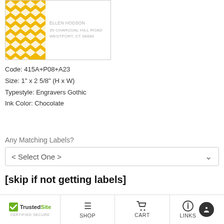[Figure (illustration): Label preview showing yellow geometric diamond pattern on left and gray sample address text on right: ELLEN HODSON, 35 CHARCOAL HILL ROAD, WESTPORT, CT 06880]
Code: 415A+P08+A23
Size: 1" x 2 5/8" (H x W)
Typestyle: Engravers Gothic
Ink Color: Chocolate
Any Matching Labels?
< Select One >
[skip if not getting labels]
Line #1
Line #2
TrustedSite CERTIFIED SECURE | SHOP | CART | LINKS